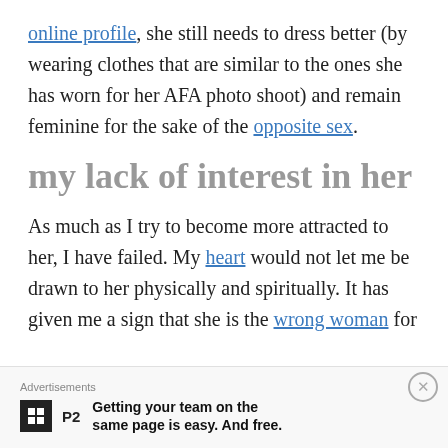online profile, she still needs to dress better (by wearing clothes that are similar to the ones she has worn for her AFA photo shoot) and remain feminine for the sake of the opposite sex.
my lack of interest in her
As much as I try to become more attracted to her, I have failed. My heart would not let me be drawn to her physically and spiritually. It has given me a sign that she is the wrong woman for
Advertisements
Getting your team on the same page is easy. And free.